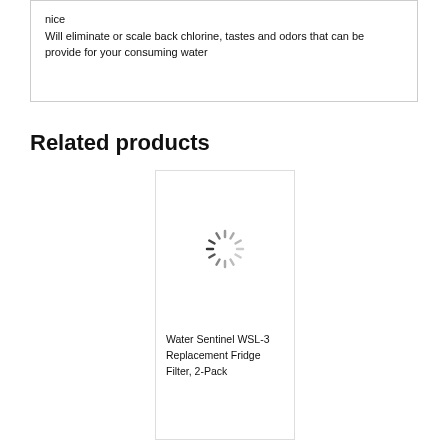nice
Will eliminate or scale back chlorine, tastes and odors that can be provide for your consuming water
Related products
[Figure (other): Loading spinner icon (circular dashed spinner) representing a product image placeholder for Water Sentinel WSL-3 Replacement Fridge Filter, 2-Pack]
Water Sentinel WSL-3 Replacement Fridge Filter, 2-Pack